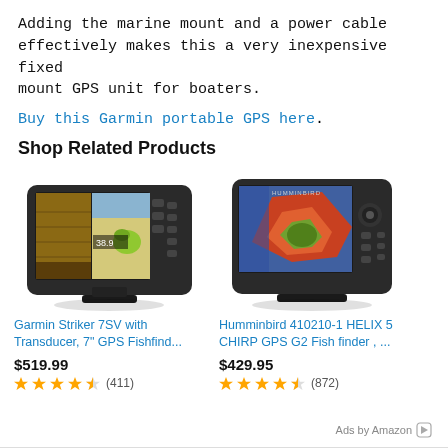Adding the marine mount and a power cable effectively makes this a very inexpensive fixed mount GPS unit for boaters.
Buy this Garmin portable GPS here.
Shop Related Products
[Figure (photo): Garmin Striker 7SV fishfinder device with display showing sonar and map]
Garmin Striker 7SV with Transducer, 7" GPS Fishfind...
$519.99
4.5 stars (411)
[Figure (photo): Humminbird HELIX 5 CHIRP GPS G2 Fish finder device with colorful map display]
Humminbird 410210-1 HELIX 5 CHIRP GPS G2 Fish finder , ...
$429.95
4.5 stars (872)
Ads by Amazon